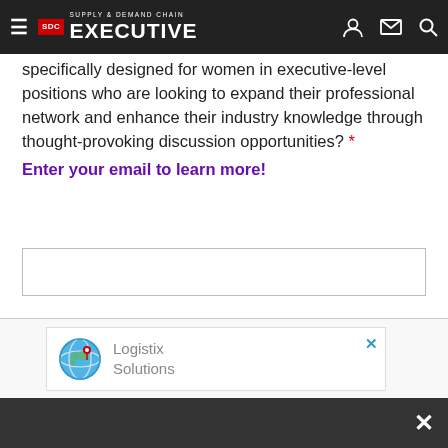Supply & Demand Chain Executive
specifically designed for women in executive-level positions who are looking to expand their professional network and enhance their industry knowledge through thought-provoking discussion opportunities? *
Enter your email to learn more!
[Figure (other): Email input text field]
[Figure (other): Learn More button (purple rounded rectangle)]
[Figure (other): Advertisement popup with Logistix Solutions globe logo and close X button]
[Figure (other): Bottom dark bar with X close button]